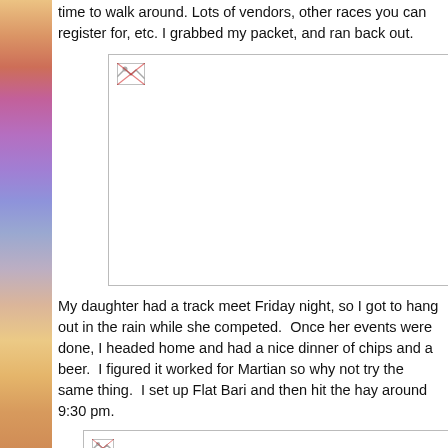time to walk around. Lots of vendors, other races you can register for, etc. I grabbed my packet, and ran back out.
[Figure (photo): Placeholder image with broken image icon, large rectangular frame]
My daughter had a track meet Friday night, so I got to hang out in the rain while she competed.  Once her events were done, I headed home and had a nice dinner of chips and a beer.  I figured it worked for Martian so why not try the same thing.  I set up Flat Bari and then hit the hay around 9:30 pm.
[Figure (photo): Placeholder image with broken image icon, rectangular frame partially visible]